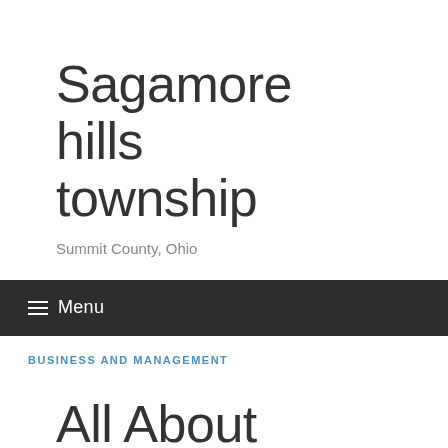Sagamore hills township
Summit County, Ohio
≡ Menu
BUSINESS AND MANAGEMENT
All About Product Development Training